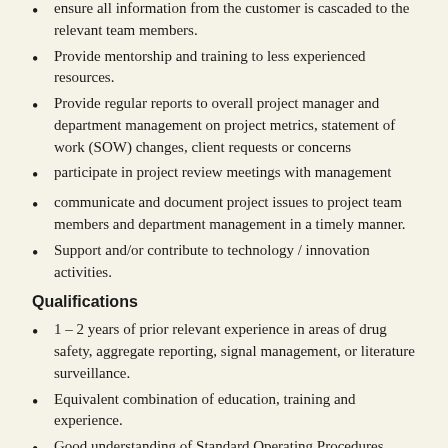ensure all information from the customer is cascaded to the relevant team members.
Provide mentorship and training to less experienced resources.
Provide regular reports to overall project manager and department management on project metrics, statement of work (SOW) changes, client requests or concerns
participate in project review meetings with management
communicate and document project issues to project team members and department management in a timely manner.
Support and/or contribute to technology / innovation activities.
Qualifications
1 – 2 years of prior relevant experience in areas of drug safety, aggregate reporting, signal management, or literature surveillance.
Equivalent combination of education, training and experience.
Good understanding of Standard Operating Procedures (SOPs) and work instructions applicable to the role.
Good working knowledge of Microsoft Office and web-based applications (e.g., Word, Excel, Powerpoint).